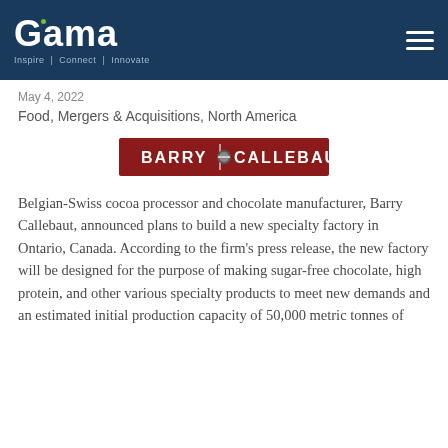Gama | Inspire | Connect | Innovate
May 4, 2022
Food, Mergers & Acquisitions, North America
[Figure (logo): Barry Callebaut logo — red rectangular background with white bold uppercase text 'BARRY CALLEBAUT' and a small decorative icon in the center dividing the two words]
Belgian-Swiss cocoa processor and chocolate manufacturer, Barry Callebaut, announced plans to build a new specialty factory in Ontario, Canada. According to the firm's press release, the new factory will be designed for the purpose of making sugar-free chocolate, high protein, and other various specialty products to meet new demands and an estimated initial production capacity of 50,000 metric tonnes of